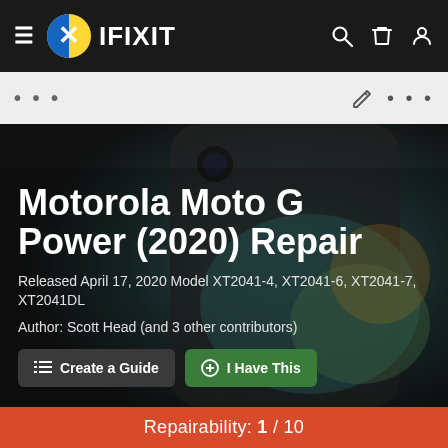IFIXIT
Motorola Moto G Power (2020) Repair
Released April 17, 2020 Model XT2041-4, XT2041-6, XT2041-7, XT2041DL
Author: Scott Head (and 3 other contributors)
Create a Guide   I Have This
Repairability: 1 / 10